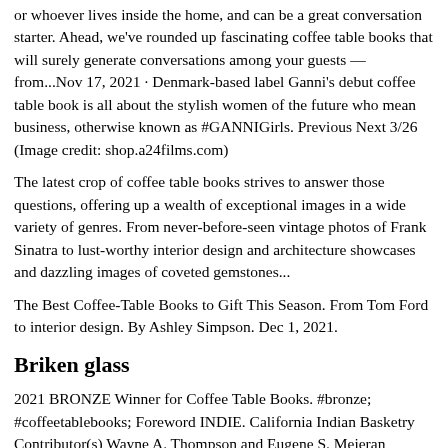or whoever lives inside the home, and can be a great conversation starter. Ahead, we've rounded up fascinating coffee table books that will surely generate conversations among your guests — from...Nov 17, 2021 · Denmark-based label Ganni's debut coffee table book is all about the stylish women of the future who mean business, otherwise known as #GANNIGirls. Previous Next 3/26 (Image credit: shop.a24films.com)
The latest crop of coffee table books strives to answer those questions, offering up a wealth of exceptional images in a wide variety of genres. From never-before-seen vintage photos of Frank Sinatra to lust-worthy interior design and architecture showcases and dazzling images of coveted gemstones...
The Best Coffee-Table Books to Gift This Season. From Tom Ford to interior design. By Ashley Simpson. Dec 1, 2021.
Briken glass
2021 BRONZE Winner for Coffee Table Books. #bronze; #coffeetablebooks; Foreword INDIE. California Indian Basketry Contributor(s) Wayne A. Thompson and Eugene S. Meieran Publisher Sunbelt Publications ISBN-13 978-1-941384-52-7 Publication Date Jan 1, 2021. See More Details. Share Assouline's collection of location-based coffee table books are some of the